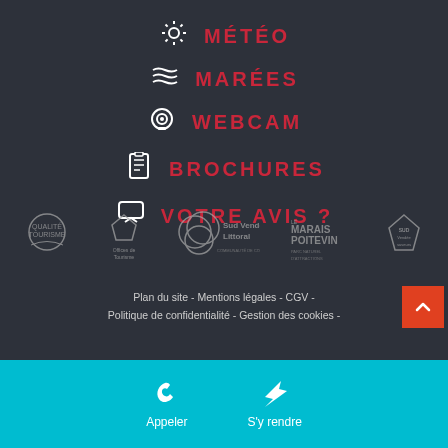☀ MÉTÉO
≋ MARÉES
⊙ WEBCAM
📋 BROCHURES
💬 VOTRE AVIS ?
[Figure (logo): Qualité Tourisme logo]
[Figure (logo): Offices de Tourisme de France logo]
[Figure (logo): Sud Vendée Littoral logo]
[Figure (logo): Le Marais Poitevin logo]
[Figure (logo): Sud Vendée Saveurs Uniques logo]
Plan du site - Mentions légales - CGV - Politique de confidentialité - Gestion des cookies -
Appeler   S'y rendre